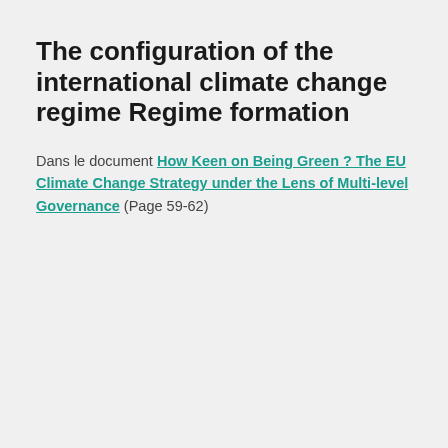The configuration of the international climate change regime Regime formation
Dans le document How Keen on Being Green ? The EU Climate Change Strategy under the Lens of Multi-level Governance (Page 59-62)